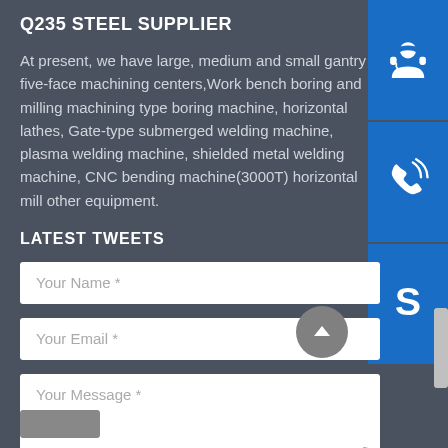Q235 STEEL SUPPLIER
At present, we have large, medium and small gantry five-face machining centers,Work bench boring and milling machining type boring machine, horizontal lathes, Gate-type submerged welding machine, plasma welding machine, shielded metal welding machine, CNC bending machine(3000T) horizontal m other equipment.
[Figure (illustration): Three stacked blue icon buttons on right side: customer service icon (headset with person), phone call icon (telephone with signal waves), Skype icon (letter S)]
LATEST TWEETS
Your Name *
Your Email *
Your Message *
[Figure (illustration): Gray circular scroll-to-top button with upward chevron arrow]